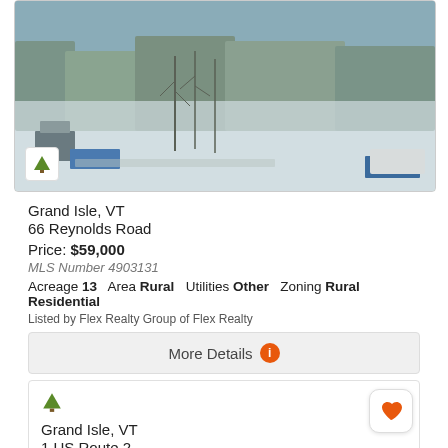[Figure (photo): Aerial winter photo of Grand Isle VT property at 66 Reynolds Road, showing snow-covered landscape with trees and buildings]
Grand Isle, VT
66 Reynolds Road
Price: $59,000
MLS Number 4903131
Acreage 13   Area Rural   Utilities Other   Zoning Rural Residential
Listed by Flex Realty Group of Flex Realty
More Details
Grand Isle, VT
1 US Route 2
Price: $79,900
MLS Number 4896826